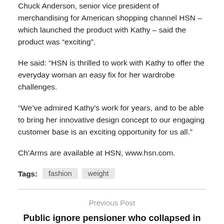Chuck Anderson, senior vice president of merchandising for American shopping channel HSN – which launched the product with Kathy – said the product was “exciting”.
He said: “HSN is thrilled to work with Kathy to offer the everyday woman an easy fix for her wardrobe challenges.
“We’ve admired Kathy’s work for years, and to be able to bring her innovative design concept to our engaging customer base is an exciting opportunity for us all.”
Ch’Arms are available at HSN, www.hsn.com.
Tags: fashion weight
Previous Post
Public ignore pensioner who collapsed in the street